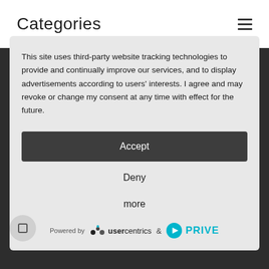Categories
This site uses third-party website tracking technologies to provide and continually improve our services, and to display advertisements according to users' interests. I agree and may revoke or change my consent at any time with effect for the future.
Accept
Deny
more
Powered by usercentrics & PRIVE
Delivery time
Legal Information